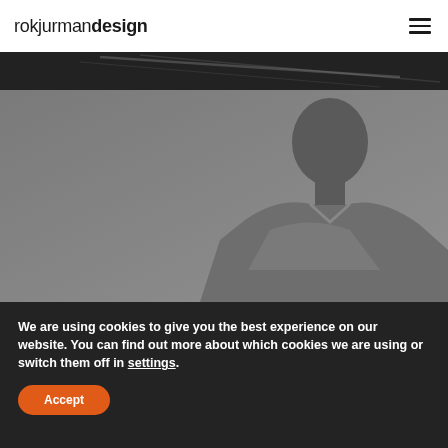rokjurmandesign [hamburger menu icon]
[Figure (photo): Dark banner strip with diagonal light streaks on dark background]
[Figure (photo): Grayscale photo of a man looking downward, upper body visible, light gray background]
We are using cookies to give you the best experience on our website. You can find out more about which cookies we are using or switch them off in settings.
Accept